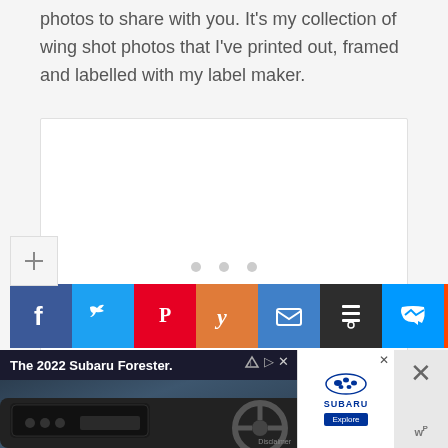photos to share with you. It's my collection of wing shot photos that I've printed out, framed and labelled with my label maker.
[Figure (photo): White placeholder image box with three small grey dots in the center, indicating a loading or empty image slot.]
[Figure (infographic): Social media sharing bar with icons for Facebook, Twitter, Pinterest, Yummly, Email, Buffer, Messenger, and Reddit. Below it is a small share/plus icon box and a row of additional partial icons.]
[Figure (screenshot): Advertisement banner for The 2022 Subaru Forester showing a dark interior dashboard photo on the left, a Subaru logo with Explore button and close X on the right side.]